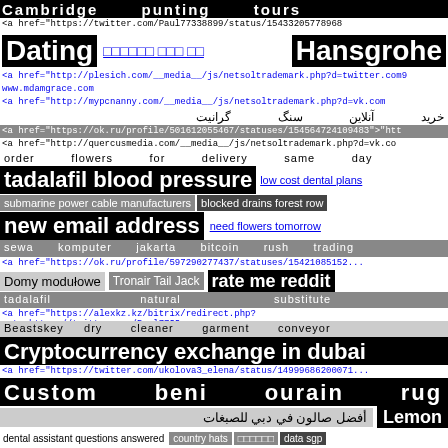Cambridge punting tours
<a href="https://twitter.com/Paul77338899/status/154332057789...
Dating   □□□□□□ □□□ □□   Hansgrohe
<a href="http://plesich.com/__media__/js/netsoltrademark.php?d=twitter.com9
www.mdamgrace.com
<a href="http://mypcnanny.com/__media__/js/netsoltrademark.php?d=vk.com
خرید آنلاین سنگ گرانیت
<a href="https://ok.ru/profile/501612055467/statuses/154564724109483">"htt
<a href="http://quercusmedia.com/__media__/js/netsoltrademark.php?d=vk.co
order flowers for delivery same day
tadalafil blood pressure    low cost dental plans
submarine power cable manufacturers    blocked drains forest row
new email address    need flowers tomorrow
sewa komputer jakarta    bitcoin rush trading
<a href="https://ok.ru/profile/597290277437/statuses/154210851522...
Domy modułowe    Tronair Tail Jack    rate me reddit
tadalafil    natural    substitute
<a href="https://alexkz.kz/bitrix/redirect.php?goto=https://twitter.com/Paul7733...
Beastskey    dry cleaner garment conveyor
Cryptocurrency exchange in dubai
<a href="https://twitter.com/ukolova3_elena/status/14999686200071...
Custom beni ourain rug
أفضل صالون في دبي للصبغات    Lemon
dental assistant questions answered    country hats    □□□□□□    data sgp